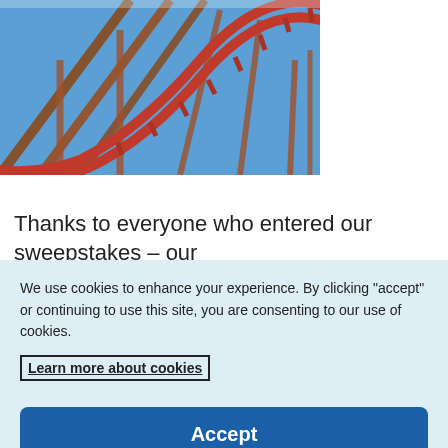[Figure (photo): Close-up photo of a red roller coaster track against a blue sky, showing the steep curve and support structure of the ride.]
Thanks to everyone who entered our sweepstakes – our winner is Faith Safran, Franklin, Ohio
We use cookies to enhance your experience. By clicking "accept" or continuing to use this site, you are consenting to our use of cookies.
Learn more about cookies
Accept